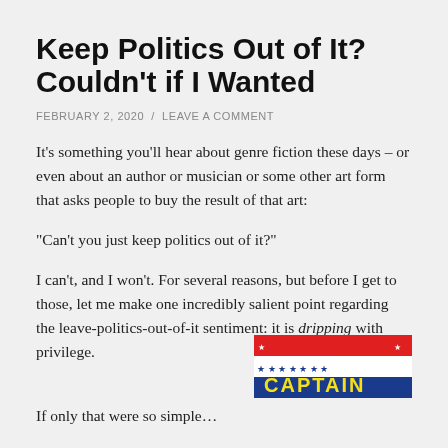Keep Politics Out of It? Couldn't if I Wanted
FEBRUARY 2, 2020 / LEAVE A COMMENT
It's something you'll hear about genre fiction these days – or even about an author or musician or some other art form that asks people to buy the result of that art:
“Can't you just keep politics out of it?”
I can't, and I won't. For several reasons, but before I get to those, let me make one incredibly salient point regarding the leave-politics-out-of-it sentiment: it is dripping with privilege.
[Figure (illustration): Comic book cover or title banner showing 'CAPTAIN' in bold yellow letters on a red and blue striped background with stars.]
If only that were so simple…